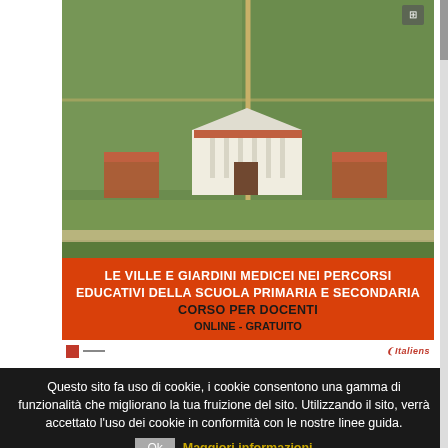[Figure (illustration): Aerial painting of a Medici villa with formal gardens, vineyards, and tree-lined paths. Red banner overlay at bottom reads: LE VILLE E GIARDINI MEDICEI NEI PERCORSI EDUCATIVI DELLA SCUOLA PRIMARIA E SECONDARIA / CORSO PER DOCENTI / ONLINE - GRATUITO]
Questo sito fa uso di cookie, i cookie consentono una gamma di funzionalità che migliorano la tua fruizione del sito. Utilizzando il sito, verrà accettato l'uso dei cookie in conformità con le nostre linee guida.
Ok  Maggiori informazioni